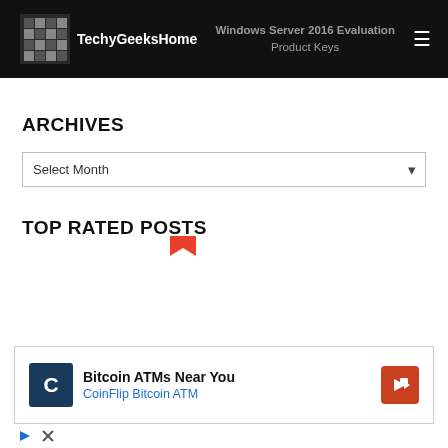TechyGeeksHome — Windows Server 2016 Evaluation Product Keys
ARCHIVES
Select Month
TOP RATED POSTS
[Figure (other): Bitcoin ATMs Near You - CoinFlip Bitcoin ATM advertisement with logo and navigation arrow]